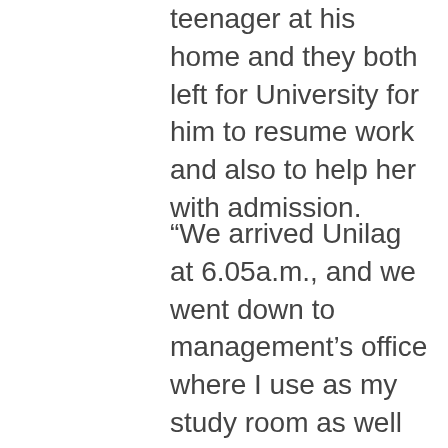teenager at his home and they both left for University for him to resume work and also to help her with admission.
“We arrived Unilag at 6.05a.m., and we went down to management’s office where I use as my study room as well as supervision contact.